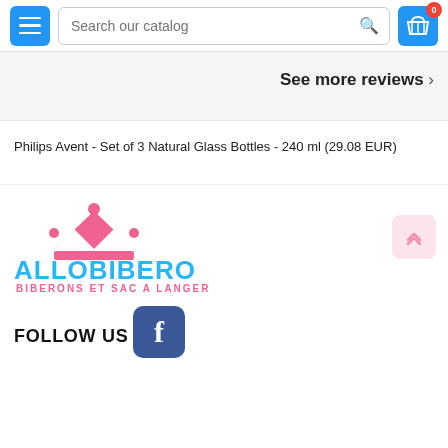[Figure (screenshot): E-commerce website header with hamburger menu button (blue), search bar with placeholder 'Search our catalog', and shopping cart icon with badge showing 0]
See more reviews >
Philips Avent - Set of 3 Natural Glass Bottles - 240 ml (29.08 EUR)
[Figure (logo): Allobiberons logo with pink crown icon above bold blue text 'ALLOBIBERONS' and pink subtitle 'BIBERONS ET SAC A LANGER']
FOLLOW US
[Figure (logo): Facebook icon - white 'f' on dark blue rounded square background]